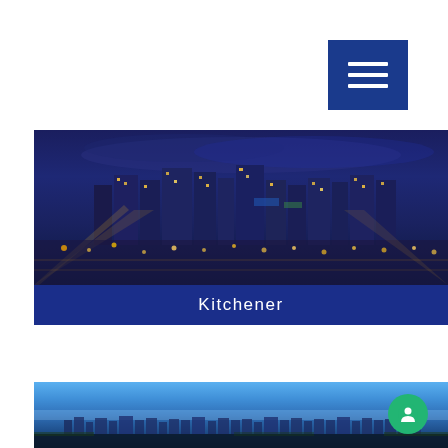[Figure (other): Blue hamburger menu button with three white horizontal bars]
[Figure (photo): Aerial night view of Kitchener city skyline with city lights, buildings, and streets illuminated against a blue twilight sky]
Kitchener
[Figure (photo): Aerial daytime panoramic view of a city skyline under a bright blue sky, bottom portion visible]